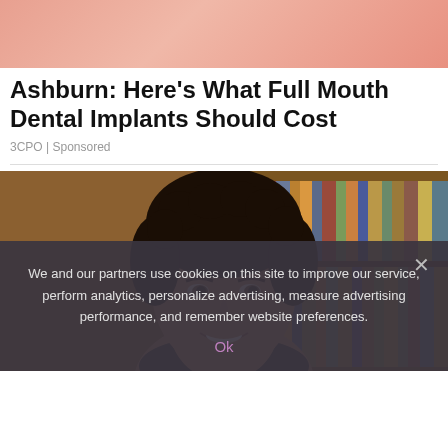[Figure (photo): Top banner image with salmon/coral colored background, partial view of a photo]
Ashburn: Here's What Full Mouth Dental Implants Should Cost
3CPO | Sponsored
[Figure (photo): A smiling man with dark curly hair in front of a bookshelf with books]
We and our partners use cookies on this site to improve our service, perform analytics, personalize advertising, measure advertising performance, and remember website preferences.
Ok